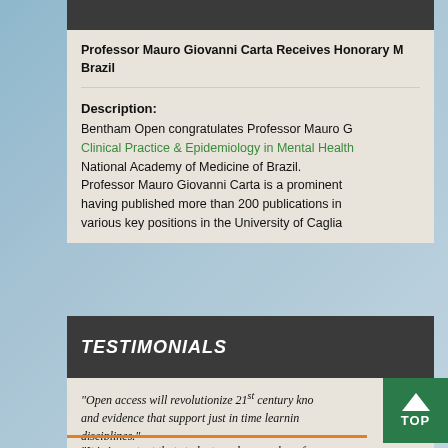Professor Mauro Giovanni Carta Receives Honorary M... Brazil
Description:
Bentham Open congratulates Professor Mauro G... Clinical Practice & Epidemiology in Mental Health... National Academy of Medicine of Brazil. Professor Mauro Giovanni Carta is a prominent... having published more than 200 publications in... various key positions in the University of Caglia...
TESTIMONIALS
"Open access will revolutionize 21st century kno... and evidence that support just in time learnin... disciplines." —Daniel Pesut. (Indiana University School of N...
"It is important that students and researchers f...